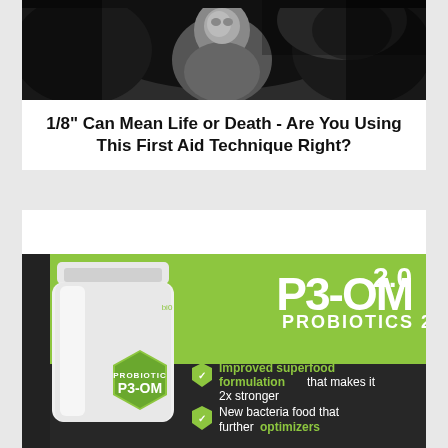[Figure (photo): Black and white photo of a person looking upward with dramatic background]
1/8" Can Mean Life or Death - Are You Using This First Aid Technique Right?
[Figure (infographic): P3-OM Probiotics 2.0 advertisement showing a supplement bottle on green and dark background with bullet points: Improved superfood formulation that makes it 2x stronger; New bacteria food that further optimizers]